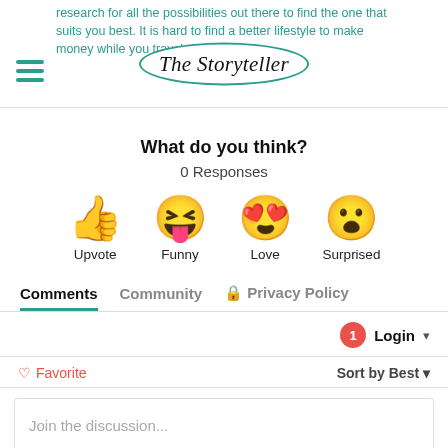The Storyteller
research for all the possibilities out there to find the one that suits you best. It is hard to find a better lifestyle to make money while you travel.
What do you think?
0 Responses
[Figure (infographic): Four emoji reaction buttons: thumbs up (Upvote), laughing face with tongue (Funny), heart eyes face (Love), surprised face (Surprised)]
Comments   Community   🔒 Privacy Policy
Login ▾
♡ Favorite   Sort by Best ▾
Join the discussion...